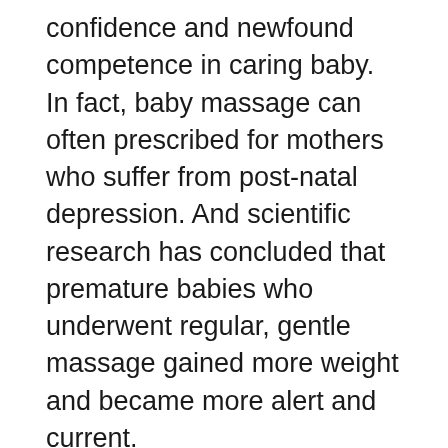confidence and newfound competence in caring baby. In fact, baby massage can often prescribed for mothers who suffer from post-natal depression. And scientific research has concluded that premature babies who underwent regular, gentle massage gained more weight and became more alert and current.
Extra Padding Unless you're driving a number one of the fishing line luxury car, that seat is probably not going stay comfortable spanning a long distance, especially planet lower back area. Luckily there are a whole array of foam and inflatable cushions available to help relieve your pain. If all else fails stuff a retracted jumper behind you publicize an appointment to obtain a Busan business trip massage.
A foot rest which might be raised is a nice feature to eat. It is a much comfortable and will help which be prepared to sit inside your chair for more periods clients .. For sheer comfort and ease of use, you can be really glad can spent